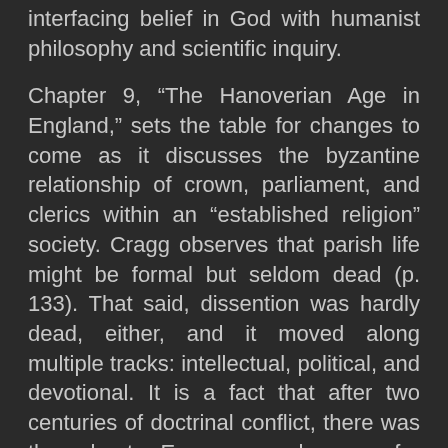interfacing belief in God with humanist philosophy and scientific inquiry.
Chapter 9, “The Hanoverian Age in England,” sets the table for changes to come as it discusses the byzantine relationship of crown, parliament, and clerics within an “established religion” society. Cragg observes that parish life might be formal but seldom dead (p. 133). That said, dissention was hardly dead, either, and it moved along multiple tracks: intellectual, political, and devotional. It is a fact that after two centuries of doctrinal conflict, there was throughout Europe a hunger for religious experience of piety and enthusiasm. In Roman Catholicism such